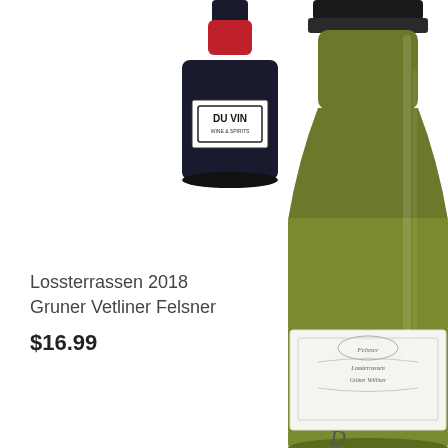[Figure (photo): Small dark wine bottle with Du Vin Wine & Spirits label]
[Figure (photo): Large green wine bottle with ornate label, partially cut off on right side, Lossterrassen 2018 Gruner Vetliner Felsner]
Lossterrassen 2018 Gruner Vetliner Felsner
$16.99